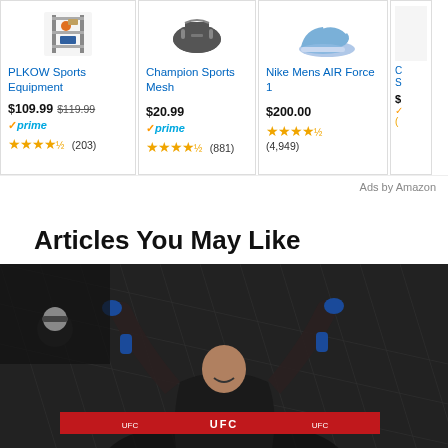[Figure (screenshot): Amazon ad card: PLKOW Sports Equipment, $109.99 (was $119.99), Prime, 4.5 stars (203 reviews)]
[Figure (screenshot): Amazon ad card: Champion Sports Mesh, $20.99, Prime, 4.5 stars (881 reviews)]
[Figure (screenshot): Amazon ad card: Nike Mens AIR Force 1, $200.00, 4.5 stars (4,949 reviews)]
[Figure (screenshot): Partial Amazon ad card (cropped)]
Ads by Amazon
Articles You May Like
[Figure (photo): UFC fighter celebrating victory with arms raised in the air inside the octagon, wearing blue gloves, crowd and UFC banner visible in background]